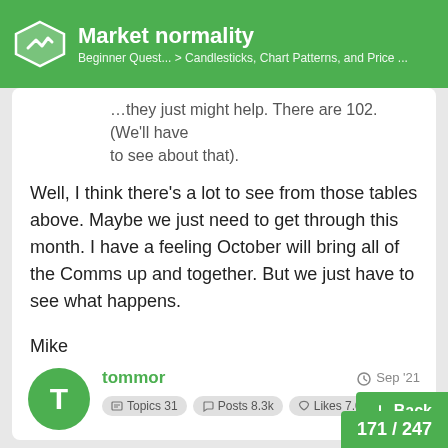Market normality — Beginner Quest... > Candlesticks, Chart Patterns, and Price ...
...they just might help. There are 102. (We'll have to see about that).
Well, I think there's a lot to see from those tables above. Maybe we just need to get through this month. I have a feeling October will bring all of the Comms up and together. But we just have to see what happens.

Mike
tommor — Sep '21 — Topics 31 — Posts 8.3k — Likes 7.0...